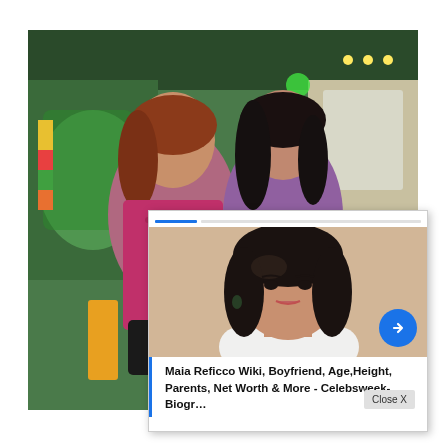[Figure (photo): Two women standing together in a colorful restaurant/cafe setting with green decor. The woman on the left wears a magenta/pink top, the woman on the right wears a purple/mauve outfit. Colorful interior with green walls and hanging lights.]
[Figure (photo): Popup/overlay card showing a close-up portrait of a young woman with dark hair and makeup, wearing a white off-shoulder top. Beige/neutral background.]
Maia Reficco Wiki, Boyfriend, Age,Height, Parents, Net Worth & More - Celebsweek- Biogr...